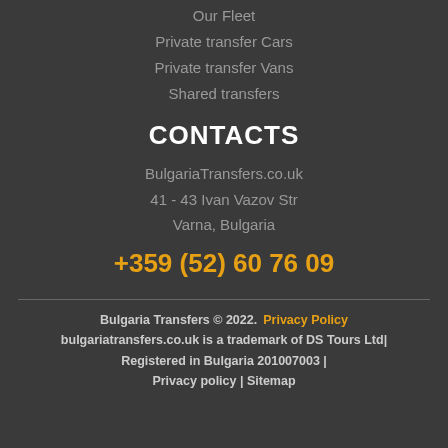Our Fleet
Private transfer Cars
Private transfer Vans
Shared transfers
CONTACTS
BulgariaTransfers.co.uk
41 - 43 Ivan Vazov Str
Varna, Bulgaria
+359 (52) 60 76 09
Bulgaria Transfers © 2022.   Privacy Policy
bulgariatransfers.co.uk is a trademark of DS Tours Ltd|
Registered in Bulgaria 201007003 |
Privacy policy | Sitemap